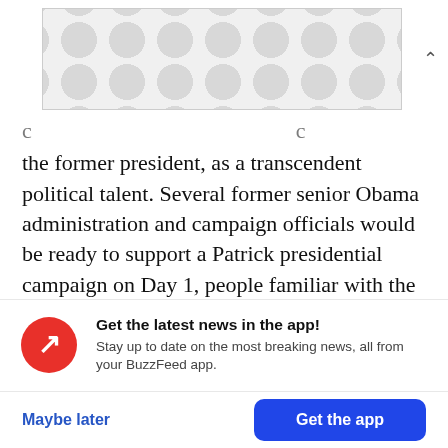[Figure (illustration): Advertisement banner with gray polka-dot pattern background]
the former president, as a transcendent political talent. Several former senior Obama administration and campaign officials would be ready to support a Patrick presidential campaign on Day 1, people familiar with the matter told BuzzFeed News.
“I think everyone’s excited,” said one former senior Obama administration official.
Get the latest news in the app! Stay up to date on the most breaking news, all from your BuzzFeed app.
Maybe later
Get the app